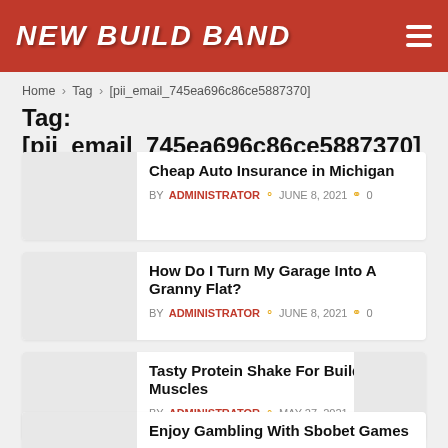NEW BUILD BAND
Home > Tag > [pii_email_745ea696c86ce5887370]
Tag: [pii_email_745ea696c86ce5887370]
Cheap Auto Insurance in Michigan | BY ADMINISTRATOR | JUNE 8, 2021 | 0
How Do I Turn My Garage Into A Granny Flat? | BY ADMINISTRATOR | JUNE 8, 2021 | 0
Tasty Protein Shake For Building Muscles | BY ADMINISTRATOR | MAY 27, 2021 | 0
Enjoy Gambling With Sbobet Games